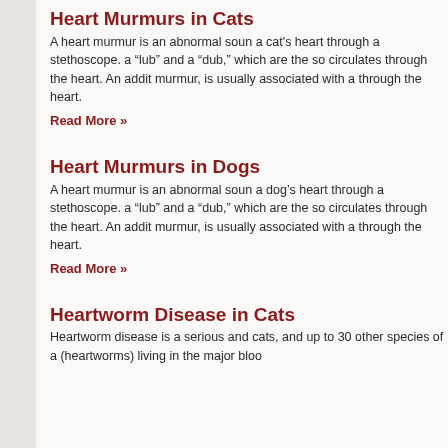Heart Murmurs in Cats
A heart murmur is an abnormal sound heard when listening to a cat's heart through a stethoscope. Normal heart sounds include a “lub” and a “dub,” which are the sounds of the valves as blood circulates through the heart. An additional sound, called a murmur, is usually associated with a turbulent flow of blood through the heart.
Read More »
Heart Murmurs in Dogs
A heart murmur is an abnormal sound heard when listening to a dog’s heart through a stethoscope. Normal heart sounds include a “lub” and a “dub,” which are the sounds of the valves as blood circulates through the heart. An additional sound, called a murmur, is usually associated with a turbulent flow of blood through the heart.
Read More »
Heartworm Disease in Cats
Heartworm disease is a serious and potentially fatal disease in cats, and up to 30 other species of animals, caused by parasites (heartworms) living in the major bloo...